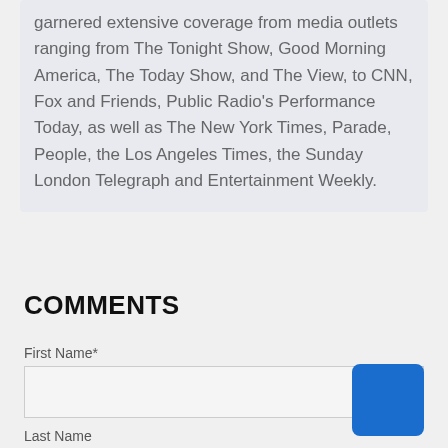garnered extensive coverage from media outlets ranging from The Tonight Show, Good Morning America, The Today Show, and The View, to CNN, Fox and Friends, Public Radio's Performance Today, as well as The New York Times, Parade, People, the Los Angeles Times, the Sunday London Telegraph and Entertainment Weekly.
COMMENTS
First Name*
Last Name